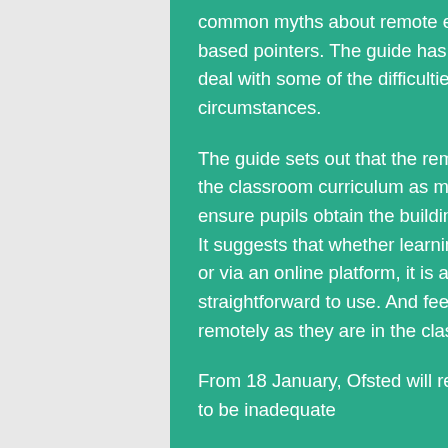common myths about remote education and counters them with evidence-based pointers. The guide has been designed to help schools and colleges deal with some of the difficulties and challenges they face under current circumstances.
The guide sets out that the remote education curriculum should be aligned to the classroom curriculum as much as possible, and carefully sequenced to ensure pupils obtain the building blocks they need to move on to the next step. It suggests that whether learning is delivered through worksheets, textbooks, or via an online platform, it is a good idea to keep resources simple and straightforward to use. And feedback and assessment are still as important remotely as they are in the classroom.
From 18 January, Ofsted will resume monitoring inspections of schools judged to be inadequate